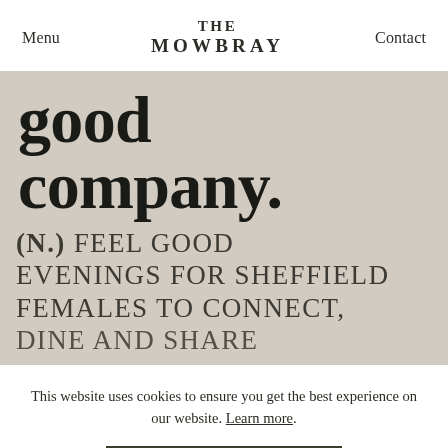Menu  THE MOWBRAY  Contact
good company.
(n.) FEEL GOOD EVENINGS FOR SHEFFIELD FEMALES TO CONNECT, DINE AND SHARE
This website uses cookies to ensure you get the best experience on our website. Learn more.
Accept and close